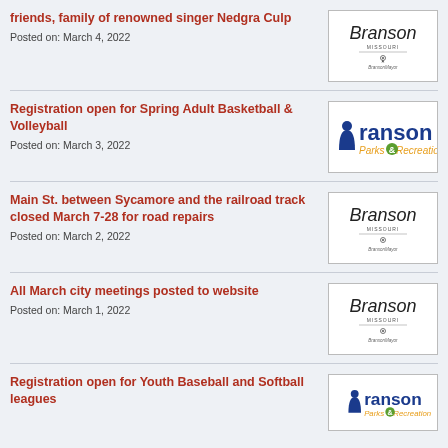friends, family of renowned singer Nedgra Culp
Posted on: March 4, 2022
Registration open for Spring Adult Basketball & Volleyball
Posted on: March 3, 2022
Main St. between Sycamore and the railroad track closed March 7-28 for road repairs
Posted on: March 2, 2022
All March city meetings posted to website
Posted on: March 1, 2022
Registration open for Youth Baseball and Softball leagues
[Figure (logo): Branson Missouri city logo]
[Figure (logo): Branson Parks & Recreation logo]
[Figure (logo): Branson Missouri city logo]
[Figure (logo): Branson Missouri city logo]
[Figure (logo): Branson Parks & Recreation logo]